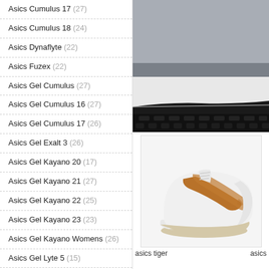Asics Cumulus 17 (27)
Asics Cumulus 18 (24)
Asics Dynaflyte (22)
Asics Fuzex (22)
Asics Gel Cumulus (27)
Asics Gel Cumulus 16 (27)
Asics Gel Cumulus 17 (26)
Asics Gel Exalt 3 (26)
Asics Gel Kayano 20 (17)
Asics Gel Kayano 21 (27)
Asics Gel Kayano 22 (25)
Asics Gel Kayano 23 (23)
Asics Gel Kayano Womens (26)
Asics Gel Lyte 5 (15)
Asics Gel Lyte Iii Canada (22)
Asics Gel Nike 15 (30)
[Figure (photo): Close-up of gray running shoe sole/midsole area, gray fabric upper with white midsole and black outsole]
[Figure (photo): White and orange/tan Asics Tiger low-top sneaker on white background]
asics tiger
asics